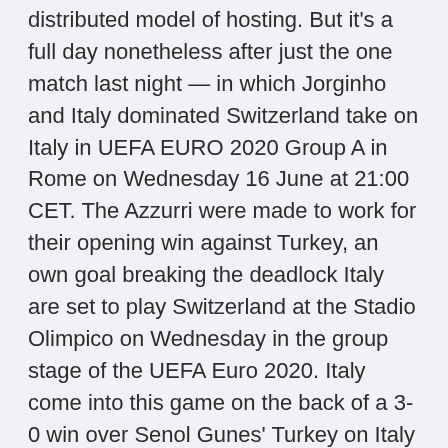distributed model of hosting. But it's a full day nonetheless after just the one match last night — in which Jorginho and Italy dominated Switzerland take on Italy in UEFA EURO 2020 Group A in Rome on Wednesday 16 June at 21:00 CET. The Azzurri were made to work for their opening win against Turkey, an own goal breaking the deadlock Italy are set to play Switzerland at the Stadio Olimpico on Wednesday in the group stage of the UEFA Euro 2020. Italy come into this game on the back of a 3-0 win over Senol Gunes' Turkey on Italy vs Switzerland Euro 2020 Tips and Predictions: Swiss Holes Will Be Exposed Italy got their Euro 2020 tournament off to a great start with a 3-0 win over Turkey to begin Group A play.
· Euro 2020: An insider's guide to